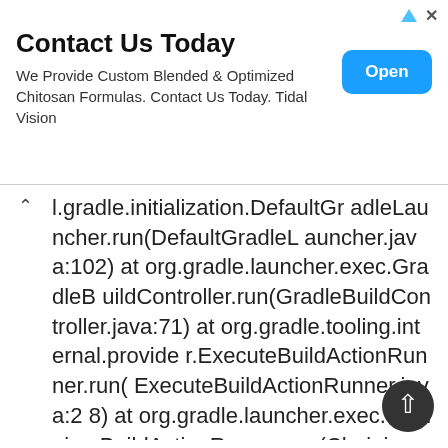[Figure (other): Advertisement banner: 'Contact Us Today' with subtitle 'We Provide Custom Blended & Optimized Chitosan Formulas. Contact Us Today. Tidal Vision' and an 'Open' button]
l.gradle.initialization.DefaultGradleLauncher.run(DefaultGradleLauncher.java:102) at org.gradle.launcher.exec.GradleBuildController.run(GradleBuildController.java:71) at org.gradle.tooling.internal.provider.ExecuteBuildActionRunner.run(ExecuteBuildActionRunner.java:28) at org.gradle.launcher.exec.ChainingBuildActionRunner.run(ChainingBuildActionRunner.java:35) at org.gradle.launcher.exec.InProcessBuildActionExecuter.execute(In